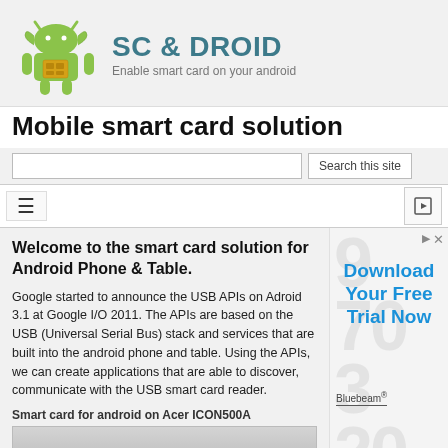[Figure (logo): SC & DROID logo with Android robot and SIM card icon, green robot mascot, with site name 'SC & DROID' in teal and tagline 'Enable smart card on your android']
Mobile smart card solution
Search this site
[Figure (screenshot): Navigation bar with hamburger menu icon on left and a page/document icon on right]
Welcome to the smart card solution for Android Phone & Table.
Google started to announce the USB APIs on Adroid 3.1 at Google I/O 2011. The APIs are based on the USB (Universal Serial Bus) stack and services that are built into the android phone and table. Using the APIs, we can create applications that are able to discover, communicate with the USB smart card reader.
Smart card for android on Acer ICON500A
[Figure (screenshot): Bottom portion of a screenshot showing a gray image area at the bottom of the page]
[Figure (advertisement): Advertisement banner with 'Download Your Free Trial Now' text in blue, Bluebeam brand name, decorative background with numbers]